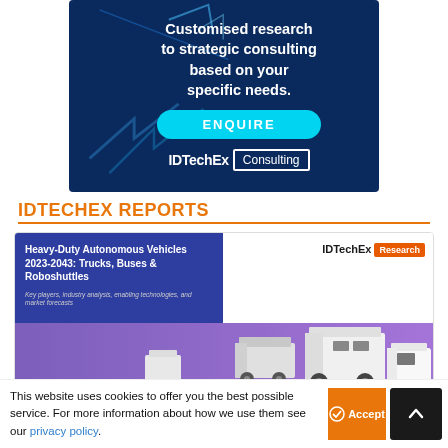[Figure (illustration): IDTechEx Consulting advertisement banner on dark blue background with arrow graphics, text 'Customised research to strategic consulting based on your specific needs.', cyan ENQUIRE button, and IDTechEx Consulting logo]
IDTECHEX REPORTS
[Figure (illustration): IDTechEx Research report cover for 'Heavy-Duty Autonomous Vehicles 2023-2043: Trucks, Buses & Roboshuttles' showing blue title box, purple gradient background, and 3D rendered autonomous vehicle models]
This website uses cookies to offer you the best possible service. For more information about how we use them see our privacy policy.